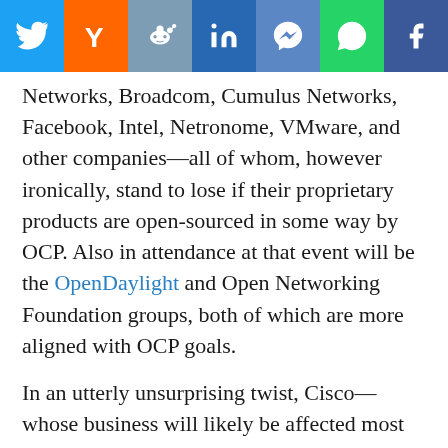[Figure (other): Social share bar with icons for Twitter, Hacker News (Y), Reddit, LinkedIn, Messenger, WhatsApp, Facebook]
Networks, Broadcom, Cumulus Networks, Facebook, Intel, Netronome, VMware, and other companies—all of whom, however ironically, stand to lose if their proprietary products are open-sourced in some way by OCP. Also in attendance at that event will be the OpenDaylight and Open Networking Foundation groups, both of which are more aligned with OCP goals.
In an utterly unsurprising twist, Cisco—whose business will likely be affected most by a vendor-neutral switch—is not among those companies Frankovsky listed as attending.
“It’s our hope that an open, disaggregated switch will enable a faster pace of innovation in the development of